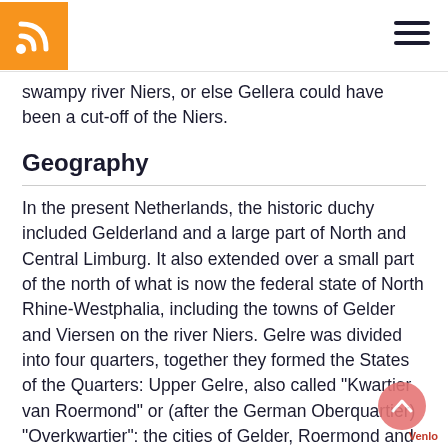[RSS logo] [hamburger menu]
swampy river Niers, or else Gellera could have been a cut-off of the Niers.
Geography
In the present Netherlands, the historic duchy included Gelderland and a large part of North and Central Limburg. It also extended over a small part of the north of what is now the federal state of North Rhine-Westphalia, including the towns of Gelder and Viersen on the river Niers. Gelre was divided into four quarters, together they formed the States of the Quarters: Upper Gelre, also called "Kwartier van Roermond" or (after the German Oberquartier) "Overkwartier": the cities of Gelder, Roermond and Venlo Quarter of Nijmegen: between the major rivers Quarter of